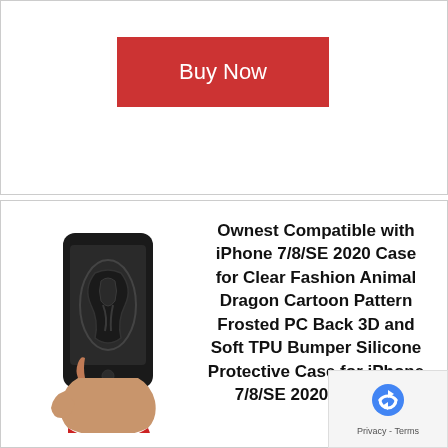Buy Now
[Figure (photo): Hand holding a black iPhone case with a dragon pattern design]
Ownest Compatible with iPhone 7/8/SE 2020 Case for Clear Fashion Animal Dragon Cartoon Pattern Frosted PC Back 3D and Soft TPU Bumper Silicone Protective Case for iPhone 7/8/SE 2020-Black-H
[Figure (donut-chart): Circular donut chart showing score 8.2 out of 10]